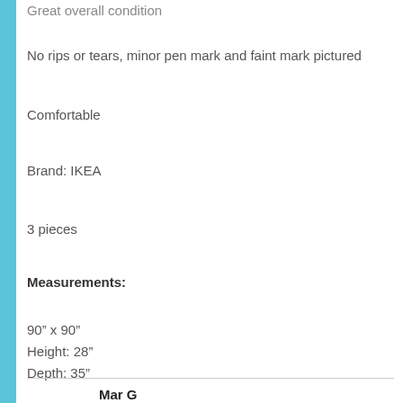Great overall condition
No rips or tears, minor pen mark and faint mark pictured
Comfortable
Brand: IKEA
3 pieces
Measurements:
90” x 90”
Height: 28”
Depth: 35”
Mar G
2021-09-29